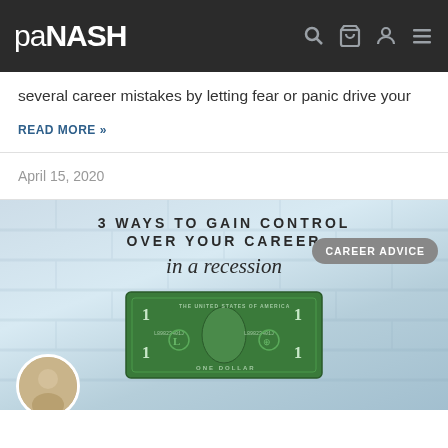paNASH
several career mistakes by letting fear or panic drive your
READ MORE »
April 15, 2020
[Figure (photo): Promotional image for an article titled '3 Ways to Gain Control Over Your Career in a Recession' showing a one dollar bill and a person, with a 'Career Advice' badge overlay]